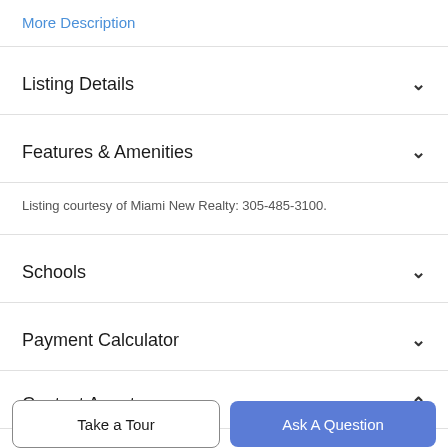More Description
Listing Details
Features & Amenities
Listing courtesy of Miami New Realty: 305-485-3100.
Schools
Payment Calculator
Contact Agent
Take a Tour
Ask A Question